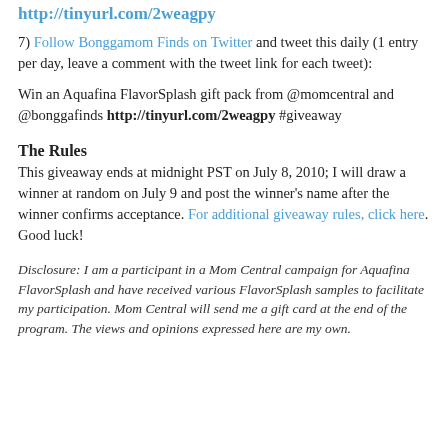http://tinyurl.com/2weagpy
7) Follow Bonggamom Finds on Twitter and tweet this daily (1 entry per day, leave a comment with the tweet link for each tweet):
Win an Aquafina FlavorSplash gift pack from @momcentral and @bonggafinds http://tinyurl.com/2weagpy #giveaway
The Rules
This giveaway ends at midnight PST on July 8, 2010; I will draw a winner at random on July 9 and post the winner's name after the winner confirms acceptance. For additional giveaway rules, click here. Good luck!
Disclosure: I am a participant in a Mom Central campaign for Aquafina FlavorSplash and have received various FlavorSplash samples to facilitate my participation. Mom Central will send me a gift card at the end of the program. The views and opinions expressed here are my own.